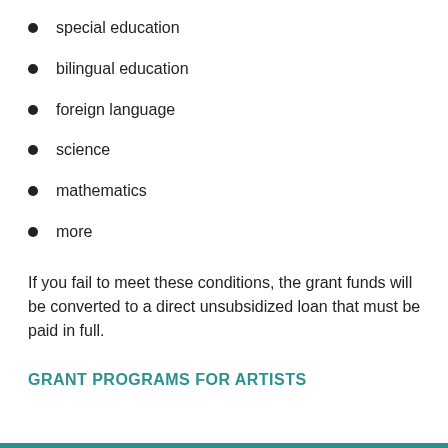special education
bilingual education
foreign language
science
mathematics
more
If you fail to meet these conditions, the grant funds will be converted to a direct unsubsidized loan that must be paid in full.
GRANT PROGRAMS FOR ARTISTS